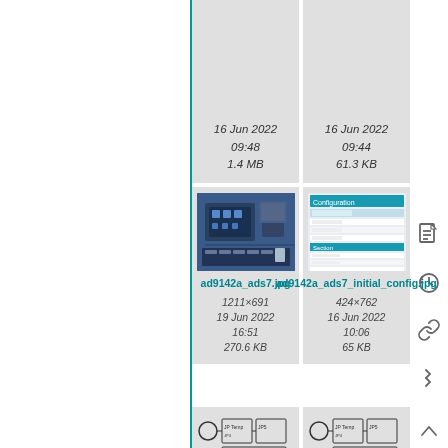[Figure (screenshot): File listing card (top-left, clipped): date 16 Jun 2022 09:48, size 1.4 MB]
[Figure (screenshot): File listing card (top-right, clipped): date 16 Jun 2022 09:44, size 61.3 KB]
[Figure (photo): ad9142a_ads7.jpg — photo of circuit board/FPGA hardware. 1211×691, 19 Jun 2022 16:51, 270.6 KB]
[Figure (screenshot): ad9142a_ads7_initial_config.jpg — screenshot of configuration form/UI. 424×762, 16 Jun 2022 10:06, 65 KB]
[Figure (engineering-diagram): Circuit/PCB diagram card (bottom-left, clipped at bottom)]
[Figure (engineering-diagram): Circuit/PCB diagram card (bottom-right, clipped at bottom)]